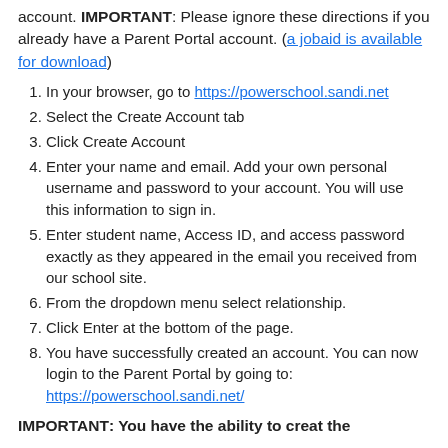account. IMPORTANT: Please ignore these directions if you already have a Parent Portal account. (a jobaid is available for download)
In your browser, go to https://powerschool.sandi.net
Select the Create Account tab
Click Create Account
Enter your name and email. Add your own personal username and password to your account. You will use this information to sign in.
Enter student name, Access ID, and access password exactly as they appeared in the email you received from our school site.
From the dropdown menu select relationship.
Click Enter at the bottom of the page.
You have successfully created an account. You can now login to the Parent Portal by going to: https://powerschool.sandi.net/
IMPORTANT: You have the ability to create the...